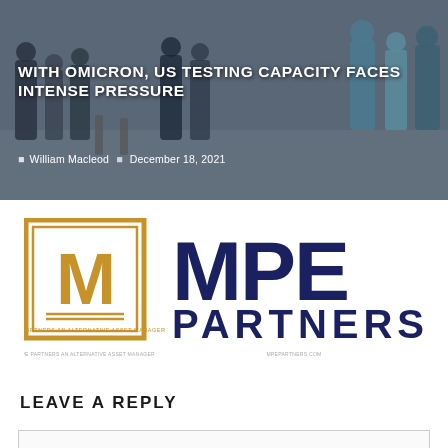WITH OMICRON, US TESTING CAPACITY FACES INTENSE PRESSURE
William Macleod   December 18, 2021
[Figure (logo): MPE Partners logo with golden M in a square frame on the left and 'MPE PARTNERS' text in dark navy blue on the right]
LEAVE A REPLY